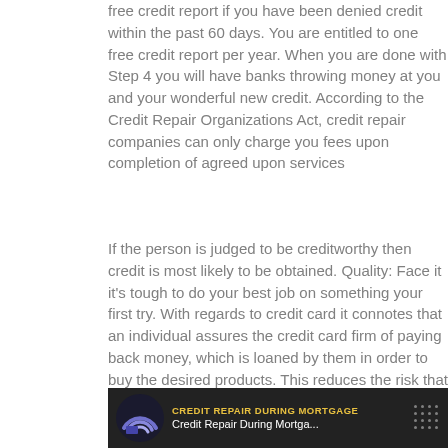free credit report if you have been denied credit within the past 60 days. You are entitled to one free credit report per year. When you are done with Step 4 you will have banks throwing money at you and your wonderful new credit. According to the Credit Repair Organizations Act, credit repair companies can only charge you fees upon completion of agreed upon services
If the person is judged to be creditworthy then credit is most likely to be obtained. Quality: Face it it's tough to do your best job on something your first try. With regards to credit card it connotes that an individual assures the credit card firm of paying back money, which is loaned by them in order to buy the desired products. This reduces the risk that you could hurt your credit score even more, and ensure you don't waste time on items that just aren't worth challenging
[Figure (screenshot): Dark banner image showing a logo on the left with text 'CREDIT REPAIR DURING MORTGAGE' in yellow/gold and 'Credit Repair During Mortga...' in white below it, with a dot grid pattern on the right.]